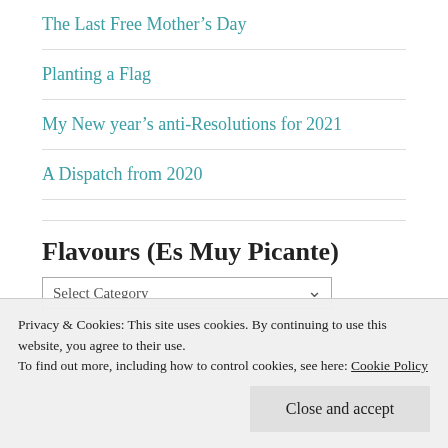The Last Free Mother's Day
Planting a Flag
My New year's anti-Resolutions for 2021
A Dispatch from 2020
Flavours (Es Muy Picante)
Select Category
Privacy & Cookies: This site uses cookies. By continuing to use this website, you agree to their use.
To find out more, including how to control cookies, see here: Cookie Policy
Close and accept